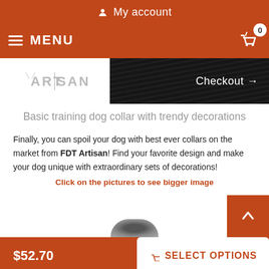My account
MENU
[Figure (screenshot): ARTISAN logo banner with dark fur background and Checkout arrow button]
Basic training dog collar with trendy decorations
Finally, you can spoil your dog with best ever collars on the market from FDT Artisan! Find your favorite design and make your dog unique with extraordinary sets of decorations!
Click on the pictures to see bigger image
[Figure (photo): Partial product photo at bottom of page]
$52.70  SELECT OPTIONS